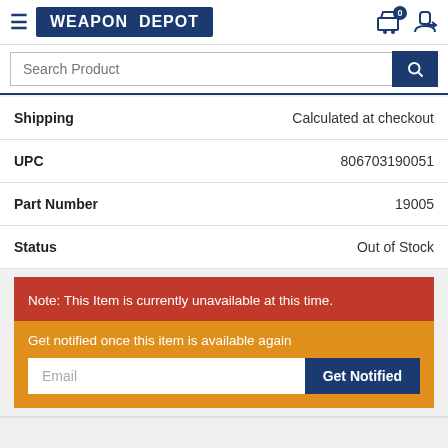WEAPON DEPOT
Search Product
| Field | Value |
| --- | --- |
| Shipping | Calculated at checkout |
| UPC | 806703190051 |
| Part Number | 19005 |
| Status | Out of Stock |
Note: This Item is currently unavailable at this time.
Get notified once this item is available again
Email
Get Notified